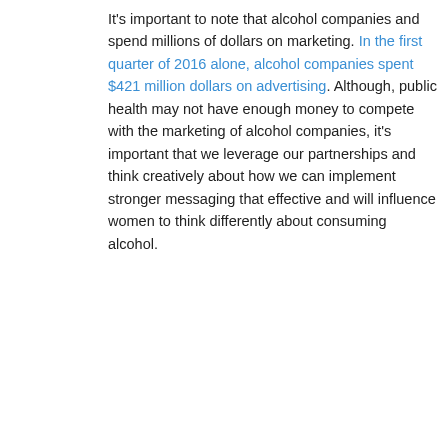It's important to note that alcohol companies and spend millions of dollars on marketing. In the first quarter of 2016 alone, alcohol companies spent $421 million dollars on advertising. Although, public health may not have enough money to compete with the marketing of alcohol companies, it's important that we leverage our partnerships and think creatively about how we can implement stronger messaging that effective and will influence women to think differently about consuming alcohol.
[Figure (photo): An advertisement image showing a bottle of Elviana Rosé wine with a pink breast cancer awareness ribbon, alongside text from the National Breast Cancer Foundation, Inc. (www.nbcf.org). The ad promotes a donation of $3.00 to the National Breast Cancer Foundation for every case of Elviana Rosé sold during October. The bottom section reads 'HELPING WOMEN NOW' in large pink letters.]